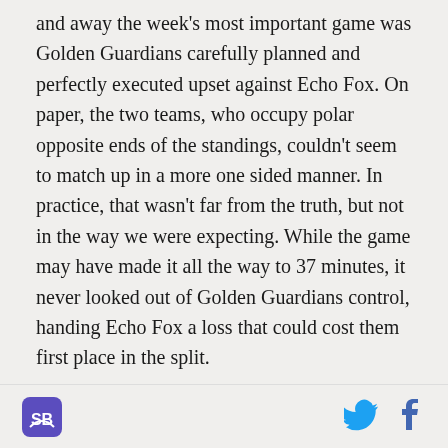and away the week's most important game was Golden Guardians carefully planned and perfectly executed upset against Echo Fox. On paper, the two teams, who occupy polar opposite ends of the standings, couldn't seem to match up in a more one sided manner. In practice, that wasn't far from the truth, but not in the way we were expecting. While the game may have made it all the way to 37 minutes, it never looked out of Golden Guardians control, handing Echo Fox a loss that could cost them first place in the split.

Thankfully for Fox, Cloud9, the team nipping at the
[SB Nation logo] [Twitter icon] [Facebook icon]